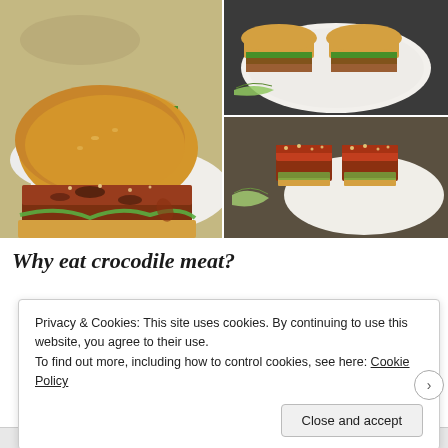[Figure (photo): Four photos of crocodile meat burgers/sandwiches served on white plates outdoors. Left image shows a large burger bun with glazed crocodile meat patty with dark sauce and lettuce. Top left background shows another burger with greens. Right top shows two burger halves on a white oval plate with lettuce. Right bottom shows two open-faced pieces of glazed crocodile meat with sesame seeds on buns with lettuce, on a white plate.]
Why eat crocodile meat?
Privacy & Cookies: This site uses cookies. By continuing to use this website, you agree to their use.
To find out more, including how to control cookies, see here: Cookie Policy
Close and accept